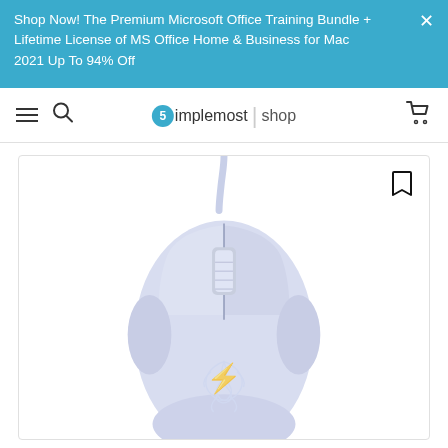Shop Now! The Premium Microsoft Office Training Bundle + Lifetime License of MS Office Home & Business for Mac 2021 Up To 94% Off
Simplemost | shop
[Figure (photo): White Razer DeathAdder gaming mouse with USB cable, shown from above on white background, featuring Razer logo on the palm rest]